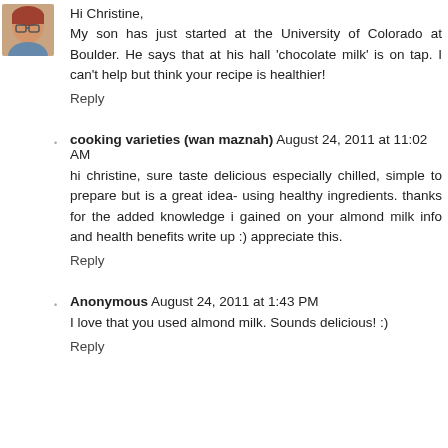[Figure (photo): Small avatar photo of a woman with glasses, reddish-brown hair]
Hi Christine,
My son has just started at the University of Colorado at Boulder. He says that at his hall 'chocolate milk' is on tap. I can't help but think your recipe is healthier!
Reply
cooking varieties (wan maznah) August 24, 2011 at 11:02 AM
hi christine, sure taste delicious especially chilled, simple to prepare but is a great idea- using healthy ingredients. thanks for the added knowledge i gained on your almond milk info and health benefits write up :) appreciate this.
Reply
Anonymous August 24, 2011 at 1:43 PM
I love that you used almond milk. Sounds delicious! :)
Reply